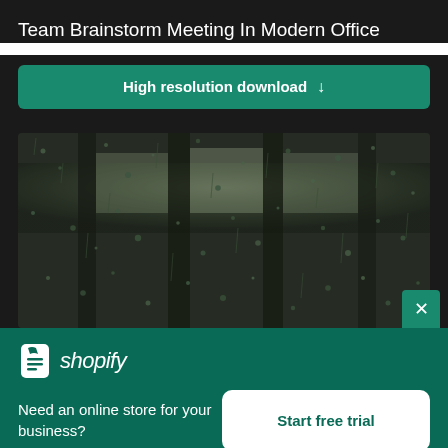Team Brainstorm Meeting In Modern Office
High resolution download ↓
[Figure (photo): Rain droplets on a glass window with blurred dark background, showing water streaks and drops on the surface]
[Figure (logo): Shopify logo with shopping bag icon and italic shopify text]
Need an online store for your business?
Start free trial